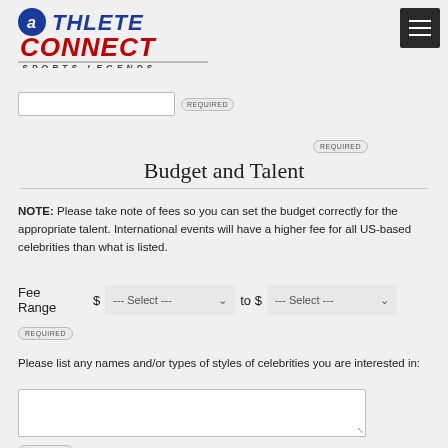[Figure (logo): Athlete Connect Sports Legends logo with blue circle-A and red Connect text]
REQUIRED
Budget and Talent
NOTE: Please take note of fees so you can set the budget correctly for the appropriate talent. International events will have a higher fee for all US-based celebrities than what is listed.
Fee Range $ --- Select --- to $ --- Select ---
REQUIRED
Please list any names and/or types of styles of celebrities you are interested in:
REQUIRED